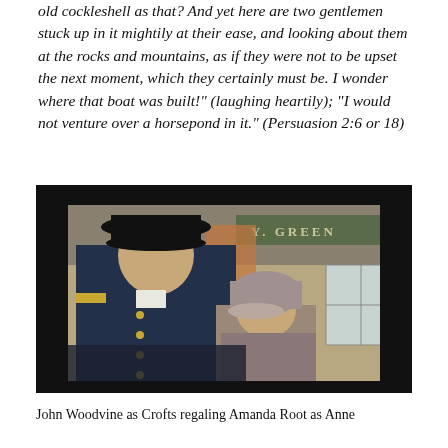old cockleshell as that? And yet here are two gentlemen stuck up in it mightily at their ease, and looking about them at the rocks and mountains, as if they were not to be upset the next moment, which they certainly must be. I wonder where that boat was built!" (laughing heartily); "I would not venture over a horsepond in it." (Persuasion 2:6 or 18)
[Figure (photo): A scene from a period drama film adaptation showing a man in a naval officer's uniform with a tricorn hat speaking with a woman wearing a bonnet and period dress, in front of a Georgian-era shop front with a sign reading 'Y. GREEN']
John Woodvine as Crofts regaling Amanda Root as Anne